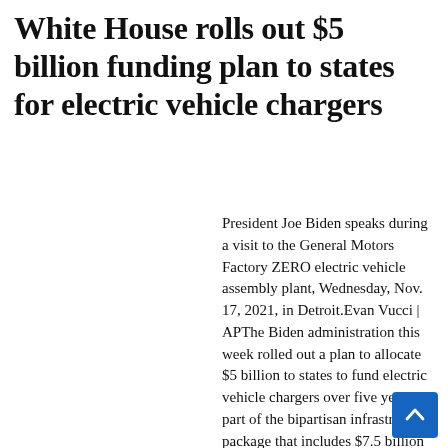White House rolls out $5 billion funding plan to states for electric vehicle chargers
President Joe Biden speaks during a visit to the General Motors Factory ZERO electric vehicle assembly plant, Wednesday, Nov. 17, 2021, in Detroit.Evan Vucci | APThe Biden administration this week rolled out a plan to allocate $5 billion to states to fund electric vehicle chargers over five years, as part of the bipartisan infrastructure package that includes $7.5 billion to build a sprawling network of EV charging stations across the country.The investment is part of the